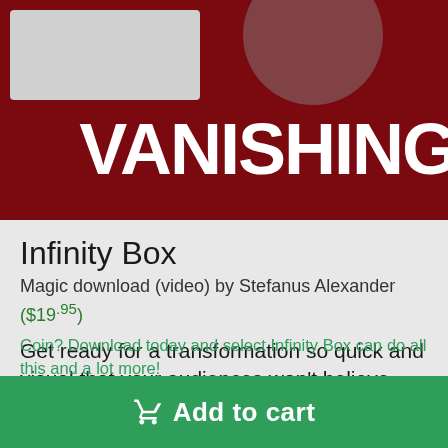[Figure (logo): Vanishing Inc. Magic website header banner with dark red background, a logo box in upper left, circular element, and large white VANISHING text]
Infinity Box
Magic download (video) by Stefanus Alexander ($19.95)
Get ready for a transformation so quick and visual that your audiences won't believe their eyes.
The Infinity Box allows you to quickly transform anything you can fit under the cellophane of a card box. Want to change a card? Money? Prediction? Coin? Download today and select Infinity Box can do all this and a lot more!